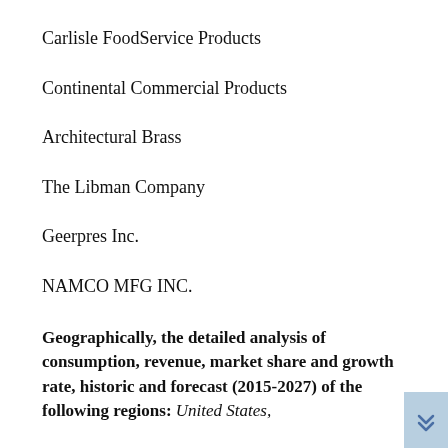Carlisle FoodService Products
Continental Commercial Products
Architectural Brass
The Libman Company
Geerpres Inc.
NAMCO MFG INC.
Geographically, the detailed analysis of consumption, revenue, market share and growth rate, historic and forecast (2015-2027) of the following regions: United States,